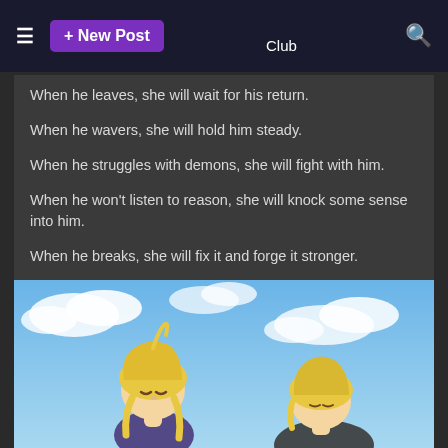≡  + New Post  ░░░░░░░░░░░░░░░░░░░░░░░░░░ Club  🔍
When he leaves, she will wait for his return.

When he wavers, she will hold him steady.

When he struggles with demons, she will fight with him.

When he won't listen to reason, she will knock some sense into him.

When he breaks, she will fix it and forge it stronger.

When he refuses to cry, she will wash his pain in her own tears.

When he cannot ▯ himself, she will.

And when he finally conquers the odds, she will be there to say:

"Idiot. Welcome back."
[Figure (illustration): Anime-style illustration showing two blonde characters bowing their heads toward each other against a blue sky with clouds background.]